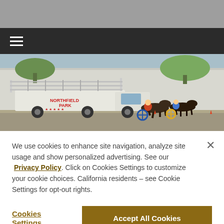[Figure (photo): Grey top bar area of a website screenshot]
[Figure (screenshot): Dark navigation bar with hamburger menu icon (three horizontal lines) on the left]
[Figure (photo): Hero image showing a harness racing scene at Northfield Park with a white starting gate truck and horses with sulky drivers racing on a track]
We use cookies to enhance site navigation, analyze site usage and show personalized advertising. See our Privacy Policy. Click on Cookies Settings to customize your cookie choices. California residents – see Cookie Settings for opt-out rights.
Cookies Settings
Accept All Cookies